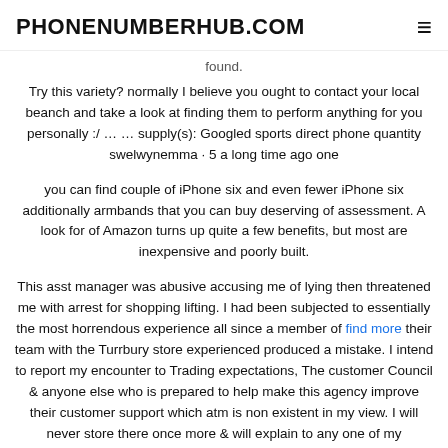PHONENUMBERHUB.COM
found.
Try this variety? normally I believe you ought to contact your local beanch and take a look at finding them to perform anything for you personally :/ … … supply(s): Googled sports direct phone quantity swelwynemma · 5 a long time ago one
you can find couple of iPhone six and even fewer iPhone six additionally armbands that you can buy deserving of assessment. A look for of Amazon turns up quite a few benefits, but most are inexpensive and poorly built.
This asst manager was abusive accusing me of lying then threatened me with arrest for shopping lifting. I had been subjected to essentially the most horrendous experience all since a member of find more their team with the Turrbury store experienced produced a mistake. I intend to report my encounter to Trading expectations, The customer Council & anyone else who is prepared to help make this agency improve their customer support which atm is non existent in my view. I will never store there once more & will explain to any one of my knowledge & how this firm treats their customers. in the remarks I have look at this retailer just should not be allowed to trade!!